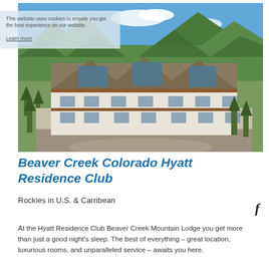[Figure (photo): Aerial/exterior view of Beaver Creek Colorado Hyatt Residence Club mountain lodge building surrounded by green forested mountains and blue sky]
This website uses cookies to ensure you get the best experience on our website. Learn more
Beaver Creek Colorado Hyatt Residence Club
Rockies in U.S. & Carribean
f
At the Hyatt Residence Club Beaver Creek Mountain Lodge you get more than just a good night's sleep. The best of everything – great location, luxurious rooms, and unparalleled service – awaits you here.